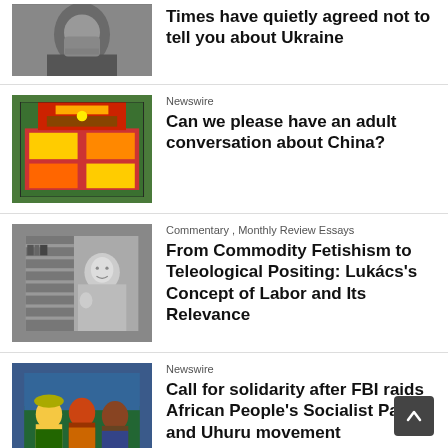[Figure (photo): Close-up portrait of a man with beard, partially visible]
Times have quietly agreed not to tell you about Ukraine
[Figure (illustration): Colorful illustration of a Chinese building or temple facade]
Newswire
Can we please have an adult conversation about China?
[Figure (photo): Black and white photo of an older person speaking or gesturing]
Commentary , Monthly Review Essays
From Commodity Fetishism to Teleological Positing: Lukács's Concept of Labor and Its Relevance
[Figure (photo): Photo of a group of people, colorful clothing]
Newswire
Call for solidarity after FBI raids African People's Socialist Party and Uhuru movement
[Figure (photo): Photo showing a person and text 'Affairs' partially visible]
Newswire
China is issuing the same “Red Line” warn